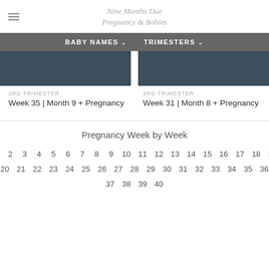Nine Months Due Pregnancy & Babies
BABY NAMES  TRIMESTERS
[Figure (photo): Two side-by-side dark blue/grey pregnancy related images]
3RD TRIMESTER
Week 35 | Month 9 + Pregnancy
3RD TRIMESTER
Week 31 | Month 8 + Pregnancy
Pregnancy Week by Week
1 2 3 4 5 6 7 8 9 10 11 12 13 14 15 16 17 18 19
20 21 22 23 24 25 26 27 28 29 30 31 32 33 34 35 36
37 38 39 40